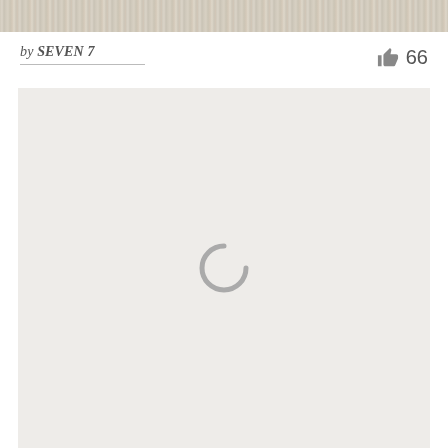[Figure (photo): Grainy/textured header image strip at top of page]
by SEVEN 7
66
[Figure (other): Loading spinner icon (partial circle/arc) centered in a light gray content area]